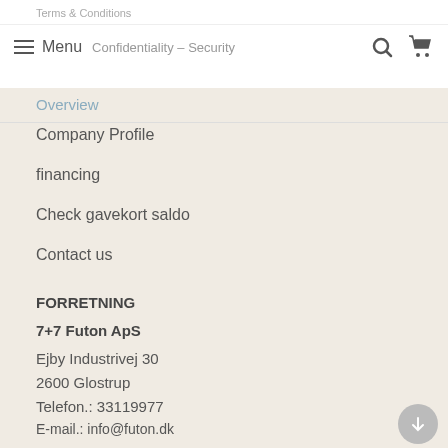Terms & Conditions
Menu | Confidentiality – Security
Overview
Company Profile
financing
Check gavekort saldo
Contact us
FORRETNING
7+7 Futon ApS
Ejby Industrivej 30
2600 Glostrup
Telefon.: 33119977
E-mail.: info@futon.dk
Moms/CVR Nr. 20909609